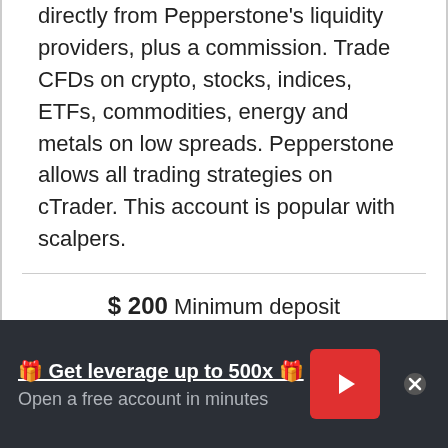directly from Pepperstone's liquidity providers, plus a commission. Trade CFDs on crypto, stocks, indices, ETFs, commodities, energy and metals on low spreads. Pepperstone allows all trading strategies on cTrader. This account is popular with scalpers.
$ 200 Minimum deposit
1:30 Leverage (EUR/USD)
0.17 Pips (EUR/USD)
$ 6 Commission
🎁 Get leverage up to 500x 🎁
Open a free account in minutes